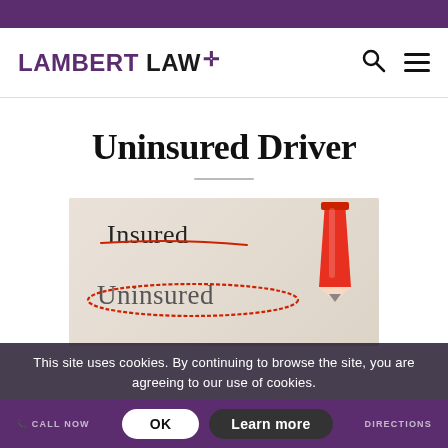Lambert Law
Uninsured Driver
[Figure (photo): Photo showing a paper with the words 'Insured' and 'Uninsured', with a red pencil circling 'Uninsured' and crossing out 'Insured']
This site uses cookies. By continuing to browse the site, you are agreeing to our use of cookies.
OK  Learn more  CALL NOW  DIRECTIONS